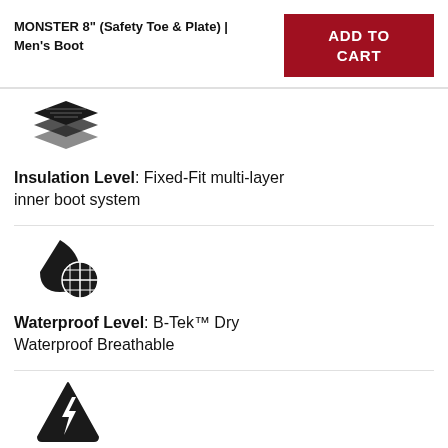MONSTER 8" (Safety Toe & Plate) | Men's Boot
[Figure (illustration): ADD TO CART button in dark red/crimson background with white bold text]
[Figure (illustration): Stacked layers icon representing insulation]
Insulation Level: Fixed-Fit multi-layer inner boot system
[Figure (illustration): Water droplet with mesh/grid pattern icon representing waterproofing]
Waterproof Level: B-Tek™ Dry Waterproof Breathable
[Figure (illustration): Triangle with lightning bolt icon representing electric shock resistance]
Electric Shock Resistant